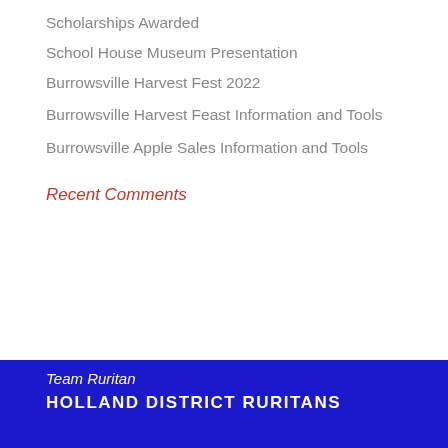Scholarships Awarded
School House Museum Presentation
Burrowsville Harvest Fest 2022
Burrowsville Harvest Feast Information and Tools
Burrowsville Apple Sales Information and Tools
Recent Comments
Team Ruritan
HOLLAND DISTRICT RURITANS